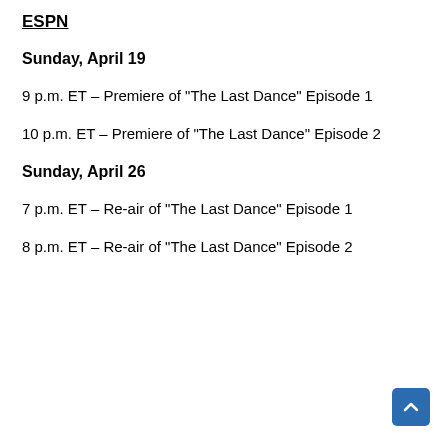ESPN
Sunday, April 19
9 p.m. ET – Premiere of "The Last Dance" Episode 1
10 p.m. ET – Premiere of "The Last Dance" Episode 2
Sunday, April 26
7 p.m. ET – Re-air of "The Last Dance" Episode 1
8 p.m. ET – Re-air of "The Last Dance" Episode 2